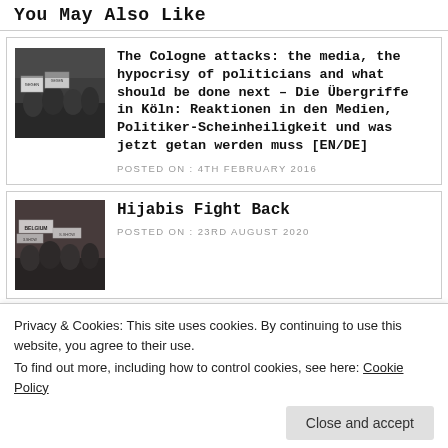You May Also Like
[Figure (photo): Protest scene with signs, people holding placards]
The Cologne attacks: the media, the hypocrisy of politicians and what should be done next – Die Übergriffe in Köln: Reaktionen in den Medien, Politiker-Scheinheiligkeit und was jetzt getan werden muss [EN/DE]
POSTED ON : 4TH FEBRUARY 2016
[Figure (photo): Belgium protest scene with signs]
Hijabis Fight Back
POSTED ON : 23RD AUGUST 2020
Privacy & Cookies: This site uses cookies. By continuing to use this website, you agree to their use.
To find out more, including how to control cookies, see here: Cookie Policy
Close and accept